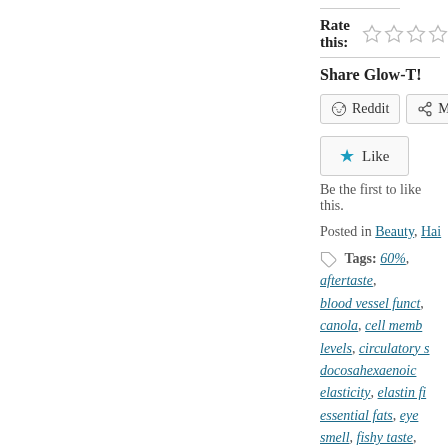Rate this:
Share Glow-T!
Reddit | More
Like
Be the first to like this.
Posted in Beauty, Hair
Tags: 60%, aftertaste, blood vessel function, canola, cell membrane levels, circulatory system, docosahexaenoic, elasticity, elastin fibers, essential fats, eye smell, fishy taste, healthy fats, healthy nails, healthy